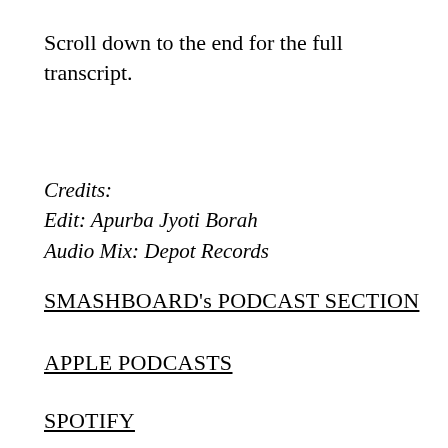Scroll down to the end for the full transcript.
Credits:
Edit: Apurba Jyoti Borah
Audio Mix: Depot Records
SMASHBOARD's PODCAST SECTION
APPLE PODCASTS
SPOTIFY